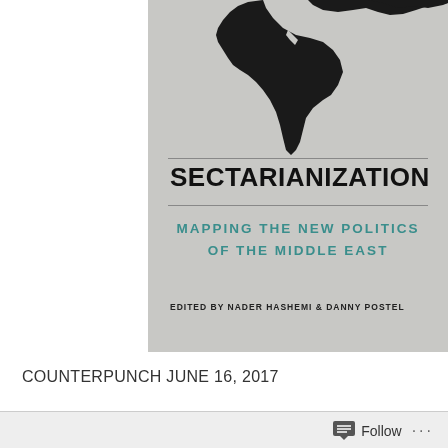[Figure (illustration): Book cover for 'Sectarianization: Mapping the New Politics of the Middle East', edited by Nader Hashemi and Danny Postel. Cover features a grey background with a black silhouette map of the Middle East region at the top, horizontal divider lines above and below the title, dark bold title text, teal subtitle text, and small caps editor attribution.]
COUNTERPUNCH JUNE 16, 2017
Follow ···